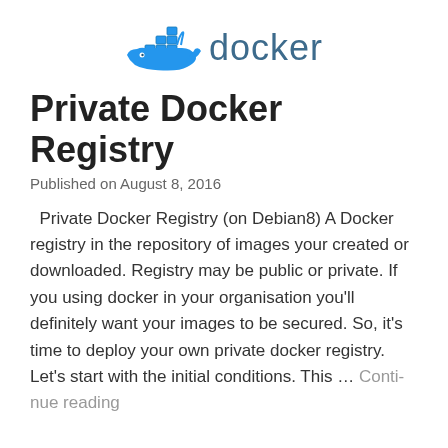[Figure (logo): Docker whale logo and wordmark]
Private Docker Registry
Published on August 8, 2016
Private Docker Registry (on Debian8) A Docker registry in the repository of images your created or downloaded. Registry may be public or private. If you using docker in your organisation you’ll definitely want your images to be secured. So, it’s time to deploy your own private docker registry.   Let’s start with the initial conditions. This … Continue reading
Redis replication and availability